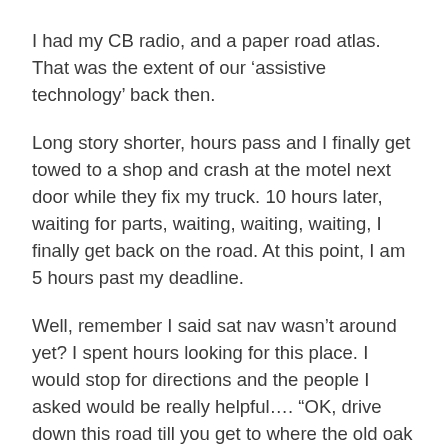I had my CB radio, and a paper road atlas. That was the extent of our ‘assistive technology’ back then.
Long story shorter, hours pass and I finally get towed to a shop and crash at the motel next door while they fix my truck. 10 hours later, waiting for parts, waiting, waiting, waiting, I finally get back on the road. At this point, I am 5 hours past my deadline.
Well, remember I said sat nav wasn’t around yet? I spent hours looking for this place. I would stop for directions and the people I asked would be really helpful…. “OK, drive down this road till you get to where the old oak used to be, then drive until you get to what was the Johansen place before it all burned down, its just some trees now, can’t hardly tell it was ever the Johansen place anymore, and turn left…”
OK, so I finally find the place and drop off my 80,000